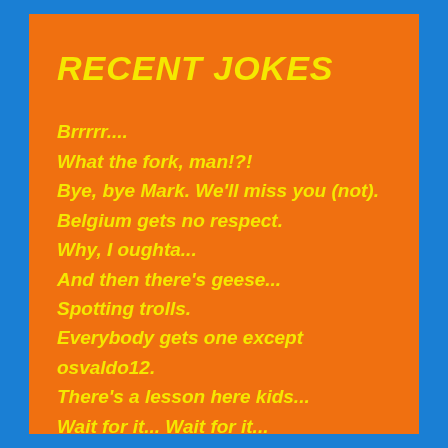RECENT JOKES
Brrrrr....
What the fork, man!?!
Bye, bye Mark. We'll miss you (not).
Belgium gets no respect.
Why, I oughta...
And then there's geese...
Spotting trolls.
Everybody gets one except osvaldo12.
There's a lesson here kids...
Wait for it... Wait for it...